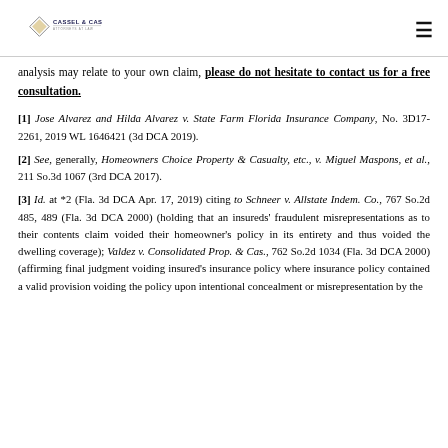CASSEL & CASSEL ATTORNEYS AT LAW
analysis may relate to your own claim, please do not hesitate to contact us for a free consultation.
[1] Jose Alvarez and Hilda Alvarez v. State Farm Florida Insurance Company, No. 3D17-2261, 2019 WL 1646421 (3d DCA 2019).
[2] See, generally, Homeowners Choice Property & Casualty, etc., v. Miguel Maspons, et al., 211 So.3d 1067 (3rd DCA 2017).
[3] Id. at *2 (Fla. 3d DCA Apr. 17, 2019) citing to Schneer v. Allstate Indem. Co., 767 So.2d 485, 489 (Fla. 3d DCA 2000) (holding that an insureds' fraudulent misrepresentations as to their contents claim voided their homeowner's policy in its entirety and thus voided the dwelling coverage); Valdez v. Consolidated Prop. & Cas., 762 So.2d 1034 (Fla. 3d DCA 2000) (affirming final judgment voiding insured's insurance policy where insurance policy contained a valid provision voiding the policy upon intentional concealment or misrepresentation by the insured)...